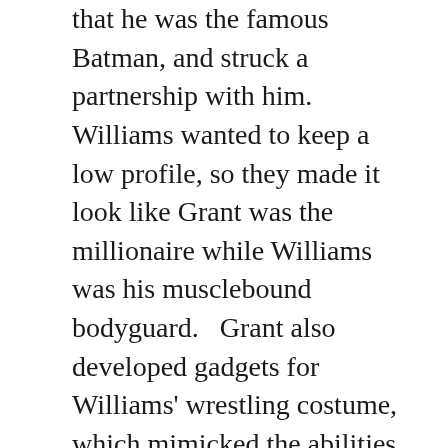that he was the famous Batman, and struck a partnership with him.   Williams wanted to keep a low profile, so they made it look like Grant was the millionaire while Williams was his musclebound bodyguard.   Grant also developed gadgets for Williams' wrestling costume, which mimicked the abilities of bats.
The Batman went to confront Handz, gliding from his custom helicopter into Handz's penthouse.   During the fight, Handz accidentally went over a balcony and died from the fall.   Batman walked away and had Grant hire Nita as his secretary –